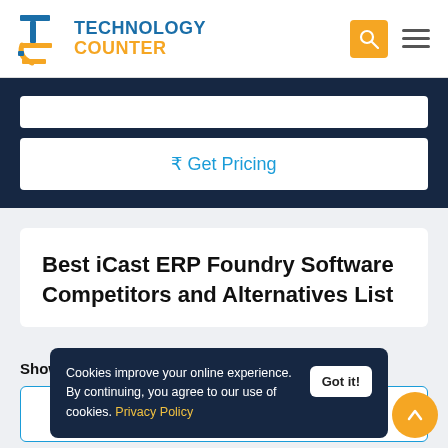Technology Counter
₹ Get Pricing
Best iCast ERP Foundry Software Competitors and Alternatives List
Showing 1 - 10 of 78 products
Cookies improve your online experience. By continuing, you agree to our use of cookies. Privacy Policy